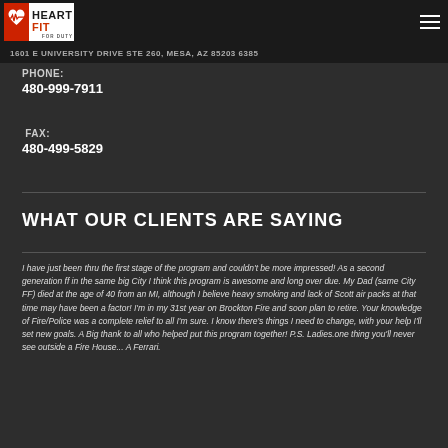HeartFit For Duty
1601 E UNIVERSITY DRIVE STE 260, MESA, AZ 85203 6385
PHONE:
480-999-7911
FAX:
480-499-5829
WHAT OUR CLIENTS ARE SAYING
I have just been thru the first stage of the program and couldn't be more impressed! As a second generation ff in the same big City I think this program is awesome and long over due. My Dad (same City FF) died at the age of 40 from an MI, although I believe heavy smoking and lack of Scott air packs at that time may have been a factor! I'm in my 31st year on Brockton Fire and soon plan to retire. Your knowledge of Fire/Police was a complete relief to all I'm sure. I know there's things I need to change, with your help I'll set new goals. A Big thank to all who helped put this program together! P.S. Ladies.one thing you'll never see outside a Fire House... A Ferrari.